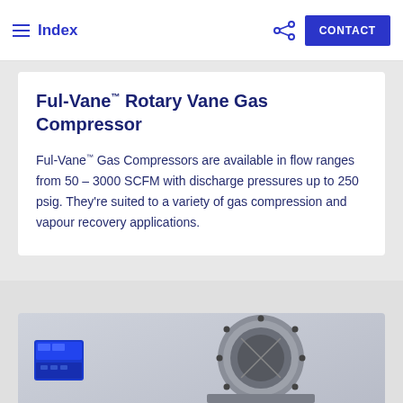Index  |  CONTACT
Ful-Vane™ Rotary Vane Gas Compressor
Ful-Vane™ Gas Compressors are available in flow ranges from 50 – 3000 SCFM with discharge pressures up to 250 psig. They're suited to a variety of gas compression and vapour recovery applications.
[Figure (photo): Photo of a Ful-Vane rotary vane gas compressor components including a blue motor unit and a large circular flanged inlet/outlet port]